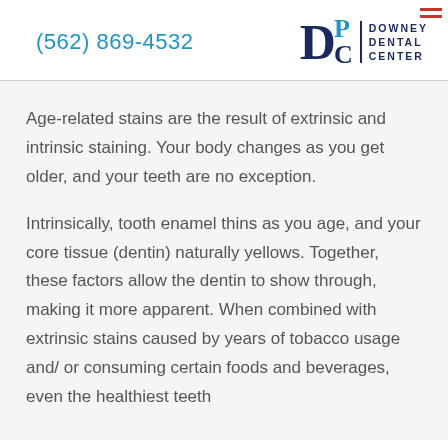(562) 869-4532 | Downey Dental Center
Age-related stains are the result of extrinsic and intrinsic staining. Your body changes as you get older, and your teeth are no exception.
Intrinsically, tooth enamel thins as you age, and your core tissue (dentin) naturally yellows. Together, these factors allow the dentin to show through, making it more apparent. When combined with extrinsic stains caused by years of tobacco usage and/ or consuming certain foods and beverages, even the healthiest teeth